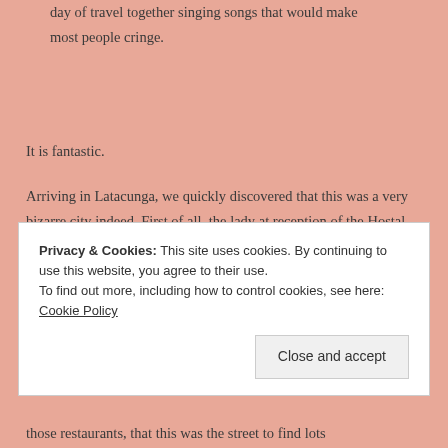day of travel together singing songs that would make most people cringe.
It is fantastic.
Arriving in Latacunga, we quickly discovered that this was a very bizarre city indeed. First of all, the lady at reception of the Hostal Tiana (whom I referred to as lady with the scary eye-make up because she had two solid luminous pink thick lines of eye shadow
Privacy & Cookies: This site uses cookies. By continuing to use this website, you agree to their use.
To find out more, including how to control cookies, see here: Cookie Policy
those restaurants, that this was the street to find lots